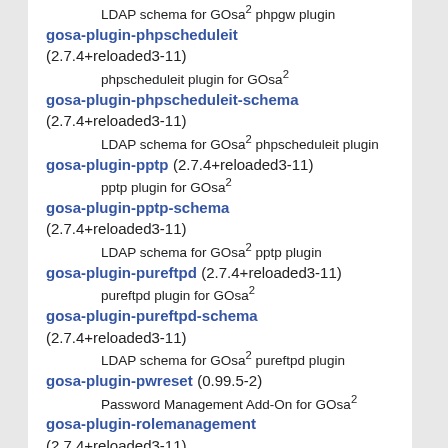LDAP schema for GOsa² phpgw plugin (partial, top)
gosa-plugin-phpscheduleit (2.7.4+reloaded3-11)
    phpscheduleit plugin for GOsa²
gosa-plugin-phpscheduleit-schema (2.7.4+reloaded3-11)
    LDAP schema for GOsa² phpscheduleit plugin
gosa-plugin-pptp (2.7.4+reloaded3-11)
    pptp plugin for GOsa²
gosa-plugin-pptp-schema (2.7.4+reloaded3-11)
    LDAP schema for GOsa² pptp plugin
gosa-plugin-pureftpd (2.7.4+reloaded3-11)
    pureftpd plugin for GOsa²
gosa-plugin-pureftpd-schema (2.7.4+reloaded3-11)
    LDAP schema for GOsa² pureftpd plugin
gosa-plugin-pwreset (0.99.5-2)
    Password Management Add-On for GOsa²
gosa-plugin-rolemanagement (2.7.4+reloaded3-11)
    rolemanagement plugin for GOsa²
gosa-plugin-rsyslog (2.7.4+reloaded3-11)
    rsyslog plugin for GOsa²
gosa-plugin-samba (2.7.4+reloaded3-11)
    samba3 plugin for GOsa²
gosa-plugin-scalix (2.7.4+reloaded3-11)